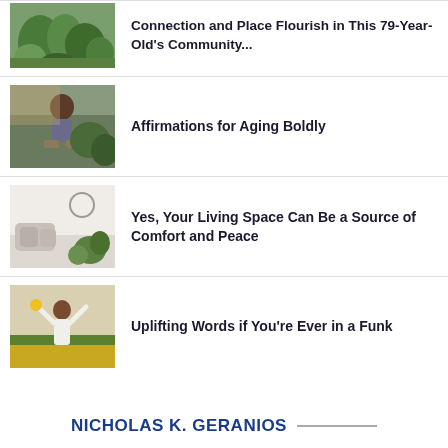[Figure (photo): Lush green garden plants, top article thumbnail]
Connection and Place Flourish in This 79-Year-Old’s Community…
[Figure (photo): Older Black man sitting outdoors on a bench, second article thumbnail]
Affirmations for Aging Boldly
[Figure (photo): Cozy living room with pillows and plants, third article thumbnail]
Yes, Your Living Space Can Be a Source of Comfort and Peace
[Figure (photo): Young woman in white dress with arms raised in a sunflower field, fourth article thumbnail]
Uplifting Words if You’re Ever in a Funk
NICHOLAS K. GERANIOS